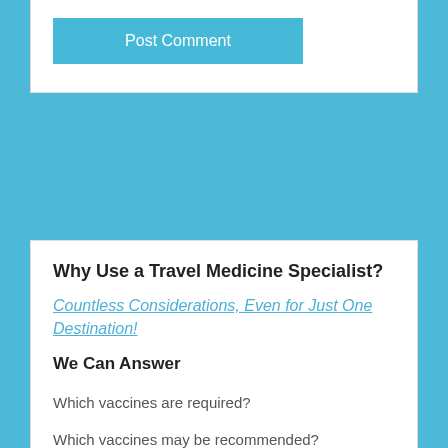[Figure (screenshot): Post Comment button — a blue rectangular button with white text reading 'Post Comment']
Why Use a Travel Medicine Specialist?
Countless Considerations, Even for Just One Destination!
We Can Answer
Which vaccines are required?
Which vaccines may be recommended?
Which medications do I need?
What Travel Supplies do I need?